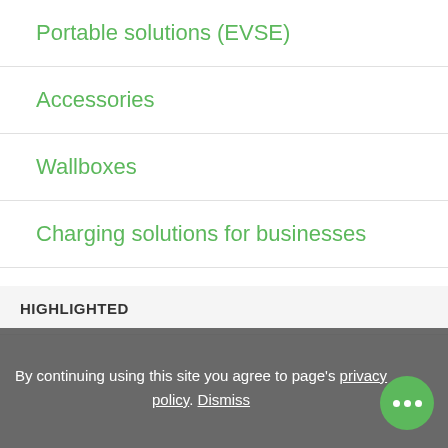Portable solutions (EVSE)
Accessories
Wallboxes
Charging solutions for businesses
Installation
HIGHLIGHTED
By continuing using this site you agree to page's privacy policy. Dismiss